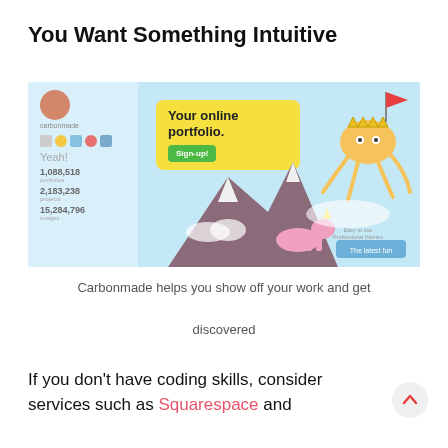You Want Something Intuitive
[Figure (screenshot): Screenshot of Carbonmade portfolio website showing the homepage with tagline 'Your online portfolio.', a Sign-up button, illustrated characters including a unicorn and octopus, and statistics showing 1,088,518 portfolios, 2,183,238 projects, and 15,284,796 images.]
Carbonmade helps you show off your work and get discovered
If you don't have coding skills, consider services such as Squarespace and